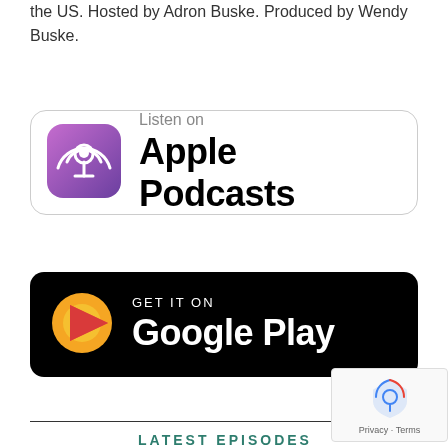the US. Hosted by Adron Buske. Produced by Wendy Buske.
[Figure (logo): Listen on Apple Podcasts badge with purple podcast icon]
[Figure (logo): Get it on Google Play badge with black background and colorful play icon]
LATEST EPISODES
[Figure (logo): reCAPTCHA privacy badge with recycling-like icon and Privacy · Terms text]